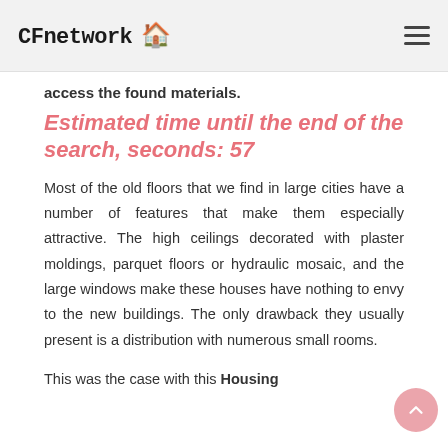CFnetwork
access the found materials.
Estimated time until the end of the search, seconds: 57
Most of the old floors that we find in large cities have a number of features that make them especially attractive. The high ceilings decorated with plaster moldings, parquet floors or hydraulic mosaic, and the large windows make these houses have nothing to envy to the new buildings. The only drawback they usually present is a distribution with numerous small rooms.
This was the case with this Housing located in the center of Barcelona. But